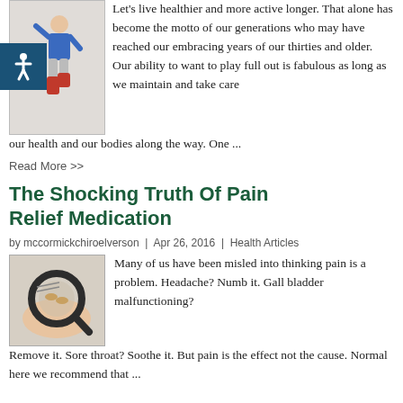[Figure (photo): Person jumping with blue top and red boots, with a blue accessibility icon overlay on the left]
Let's live healthier and more active longer.  That alone has become the motto of our generations who may have reached our embracing years of our thirties and older.  Our ability to want to play full out is fabulous as long as we maintain and take care our health and our bodies along the way.  One ...
Read More >>
The Shocking Truth Of Pain Relief Medication
by mccormickchiroelverson | Apr 26, 2016 | Health Articles
[Figure (photo): Hand holding a magnifying glass over pill bottle label]
Many of us have been misled into thinking pain is a problem. Headache? Numb it. Gall bladder malfunctioning? Remove it. Sore throat? Soothe it. But pain is the effect not the cause. Normal here we recommend that ...